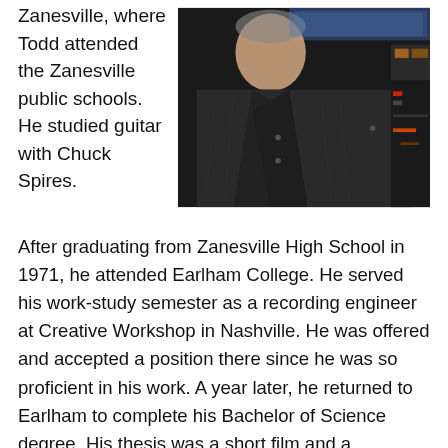Zanesville, where Todd attended the Zanesville public schools. He studied guitar with Chuck Spires.
[Figure (photo): A man wearing a dark jacket sitting in front of a computer monitor and equipment, photographed indoors.]
After graduating from Zanesville High School in 1971, he attended Earlham College. He served his work-study semester as a recording engineer at Creative Workshop in Nashville. He was offered and accepted a position there since he was so proficient in his work. A year later, he returned to Earlham to complete his Bachelor of Science degree. His thesis was a short film and a photographic exhibit with self-composed and rendered